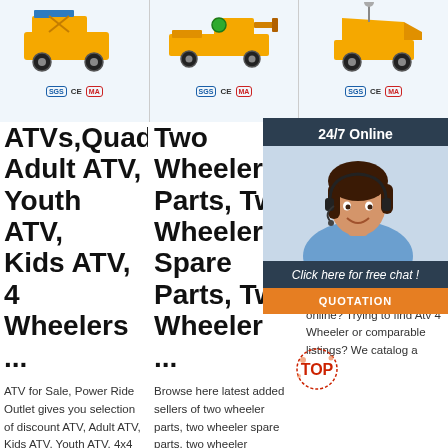[Figure (photo): Three orange industrial/construction machines (scissor lift, road paver/sprayer, mini dumper) shown across the top strip with certification badges below each]
ATVs,Quads Two Adult ATV, Wheeler Youth ATV, Parts, Two Kids ATV, 4 Wheeler Wheelers Spare ... Parts, Two Wheeler ...
ATV for Sale, Power Ride Outlet gives you selection of discount ATV, Adult ATV, Kids ATV, Youth ATV, 4x4 ATV, Sporty ATV, Utility
Browse here latest added sellers of two wheeler parts, two wheeler spare parts, two wheeler
Atv 4 Wheeler for sale online? Trying to find Atv 4 Wheeler or comparable listings? We catalog a
[Figure (screenshot): 24/7 Online chat widget with a customer service representative photo and QUOTATION button]